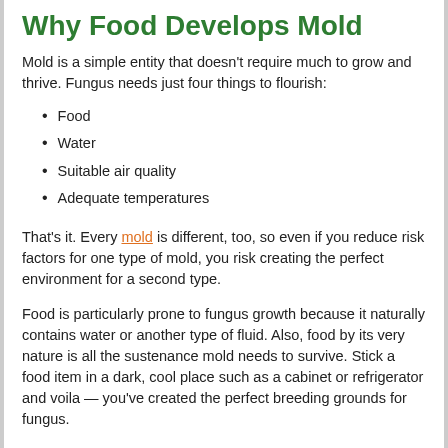Why Food Develops Mold
Mold is a simple entity that doesn't require much to grow and thrive. Fungus needs just four things to flourish:
Food
Water
Suitable air quality
Adequate temperatures
That's it. Every mold is different, too, so even if you reduce risk factors for one type of mold, you risk creating the perfect environment for a second type.
Food is particularly prone to fungus growth because it naturally contains water or another type of fluid. Also, food by its very nature is all the sustenance mold needs to survive. Stick a food item in a dark, cool place such as a cabinet or refrigerator and voila — you've created the perfect breeding grounds for fungus.
Types of Food That Are Most Susceptible